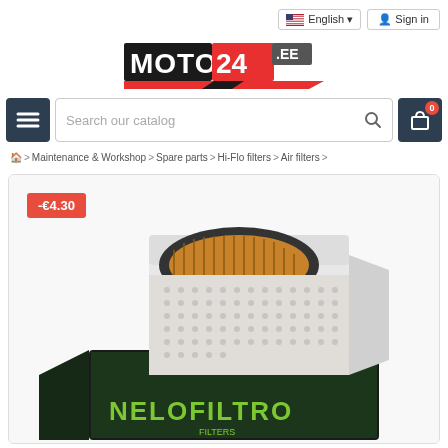English | Sign in
[Figure (logo): MOTO24.EE logo in black and red]
[Figure (screenshot): Search bar with menu button and cart button showing 0 items]
Home > Maintenance & Workshop > Spare parts > Hi-Flo filters > Air filters >
[Figure (photo): HiFlo Filtro air filter product sitting on its box, showing white rectangular filter element with orange pleated paper filter visible from top through oval rubber gasket, and black box with green HiFlo Filtro branding]
-€4.30